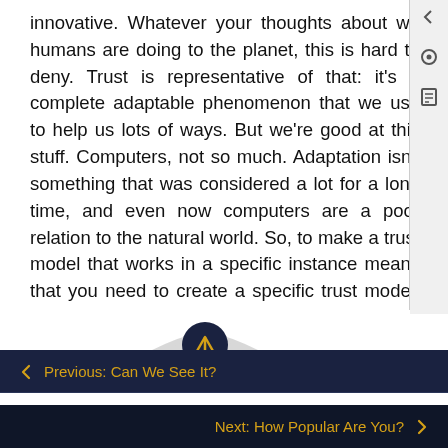innovative. Whatever your thoughts about what humans are doing to the planet, this is hard to deny. Trust is representative of that: it's a completely adaptable phenomenon that we use to help us in lots of ways. But we're good at this stuff. Computers, not so much. Adaptation isn't something that was considered a lot for a long time, and even now computers are a poor relation to the natural world. So, to make a trust model that works in a specific instance means that you need to create a specific trust model. That's a thing.
[Figure (illustration): Partial illustration showing a green and grey shield or map shape with a circular dark navy up-arrow button overlaid on top center]
← Previous: Can We See It?
Next: How Popular Are You? →